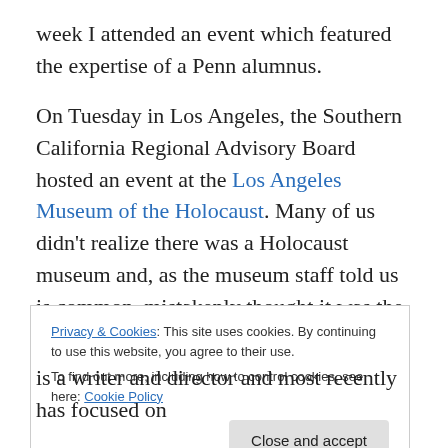week I attended an event which featured the expertise of a Penn alumnus.
On Tuesday in Los Angeles, the Southern California Regional Advisory Board hosted an event at the Los Angeles Museum of the Holocaust. Many of us didn't realize there was a Holocaust museum and, as the museum staff told us is common, mistakenly thought it was the Museum of Tolerance. This museum has existed in various locations since the early 1960s, but has only been in its permanent home in Pacific Park in Los Angeles
Privacy & Cookies: This site uses cookies. By continuing to use this website, you agree to their use. To find out more, including how to control cookies, see here: Cookie Policy
is a writer and director and most recently has focused on